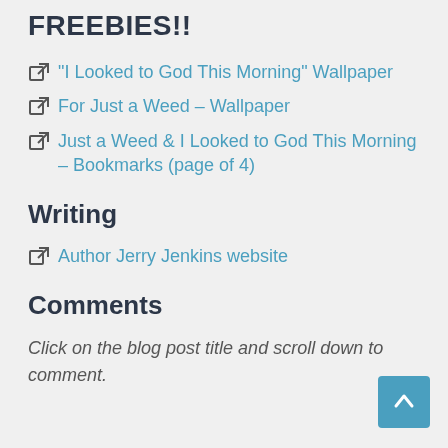FREEBIES!!
"I Looked to God This Morning" Wallpaper
For Just a Weed – Wallpaper
Just a Weed & I Looked to God This Morning – Bookmarks (page of 4)
Writing
Author Jerry Jenkins website
Comments
Click on the blog post title and scroll down to comment.